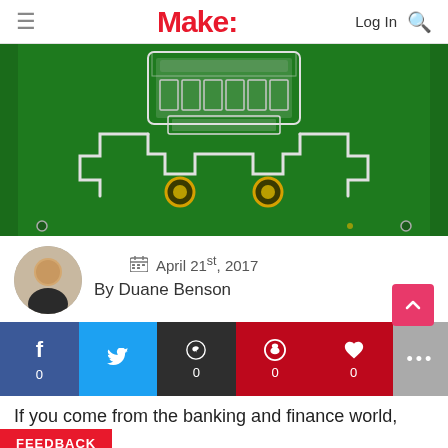Make:
[Figure (photo): Close-up photograph of a green printed circuit board (PCB) showing circuit traces, connector pads, and gold-plated mounting holes on a dark green substrate.]
April 21st, 2017
By Duane Benson
If you come from the banking and finance world, then